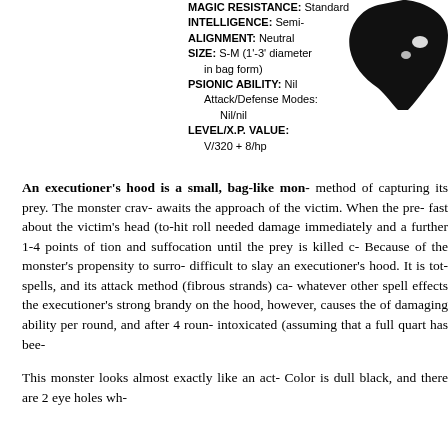MAGIC RESISTANCE: Standard
INTELLIGENCE: Semi-
ALIGNMENT: Neutral
SIZE: S-M (1'-3' diameter in bag form)
PSIONIC ABILITY: Nil
    Attack/Defense Modes:
        Nil/nil
LEVEL/X.P. VALUE:
    V/320+8/hp
[Figure (illustration): Black silhouette illustration of an executioner's hood creature, shown from above-right, resembling a dark bag-like form with eye holes]
An executioner's hood is a small, bag-like mon- method of capturing its prey. The monster crav- awaits the approach of the victim. When the pre- fast about the victim's head (to-hit roll needed damage immediately and a further 1-4 points of tion and suffocation until the prey is killed c- Because of the monster's propensity to surro- difficult to slay an executioner's hood. It is tot- spells, and its attack method (fibrous strands) ca- whatever other spell effects the executioner's strong brandy on the hood, however, causes the of damaging ability per round, and after 4 roun- intoxicated (assuming that a full quart has bee-
This monster looks almost exactly like an act- Color is dull black, and there are 2 eye holes wh-